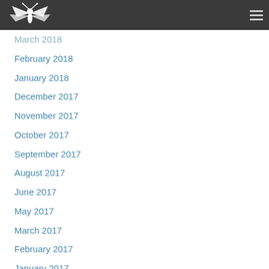[logo] [hamburger menu]
March 2018
February 2018
January 2018
December 2017
November 2017
October 2017
September 2017
August 2017
June 2017
May 2017
March 2017
February 2017
January 2017
December 2016
November 2016
October 2016
September 2016